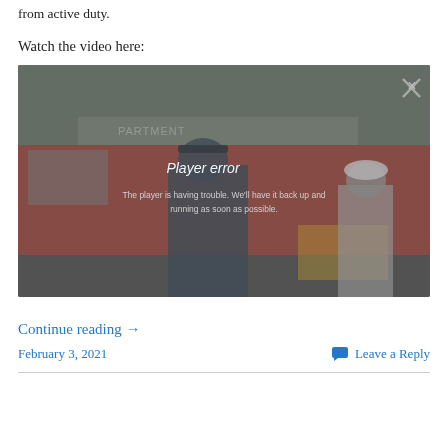from active duty.
Watch the video here:
[Figure (screenshot): Video player screenshot showing a fire department truck scene with a player error overlay message reading 'Player error' and 'The player is having trouble. We'll have it back up and running as soon as possible.' with a close (X) button in the upper right.]
Continue reading →
February 3, 2021
Leave a Reply